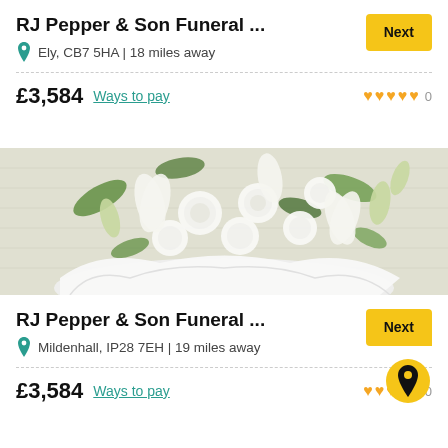RJ Pepper & Son Funeral ...
Ely, CB7 5HA | 18 miles away
£3,584 Ways to pay  0
[Figure (photo): A bouquet of white roses and white lilies with green foliage, wrapped in white tissue paper, placed on a textured white surface.]
RJ Pepper & Son Funeral ...
Mildenhall, IP28 7EH | 19 miles away
£3,584 Ways to pay  0